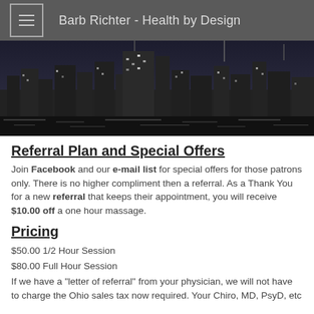Barb Richter - Health by Design
[Figure (photo): Black and white nighttime city skyline with skyscrapers and lights]
Referral Plan and Special Offers
Join Facebook and our e-mail list for special offers for those patrons only. There is no higher compliment then a referral. As a Thank You for a new referral that keeps their appointment, you will receive $10.00 off a one hour massage.
Pricing
$50.00 1/2 Hour Session
$80.00 Full Hour Session
If we have a "letter of referral" from your physician, we will not have to charge the Ohio sales tax now required. Your Chiro, MD, PsyD, etc